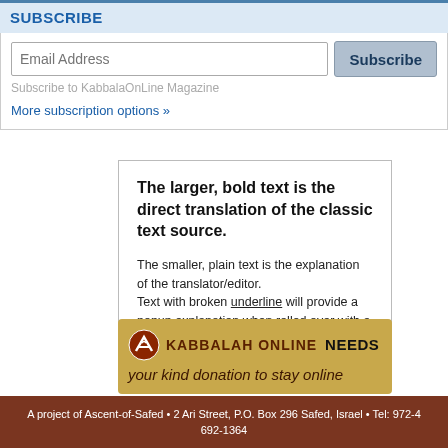SUBSCRIBE
Email Address
Subscribe to KabbalaOnLine Magazine
More subscription options »
The larger, bold text is the direct translation of the classic text source.

The smaller, plain text is the explanation of the translator/editor.
Text with broken underline will provide a popup explanation when rolled over with a mouse.
[Figure (logo): Kabbalah Online donation banner with logo, text 'KABBALAH ONLINE NEEDS your kind donation to stay online']
A project of Ascent-of-Safed • 2 Ari Street, P.O. Box 296 Safed, Israel • Tel: 972-4 692-1364